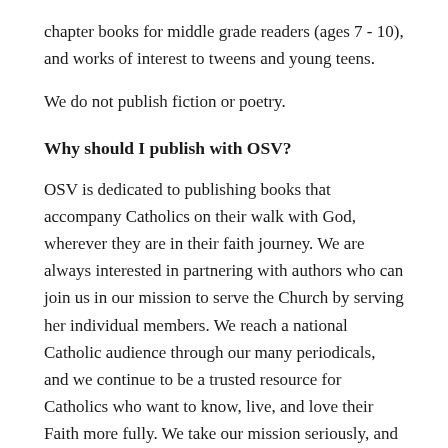chapter books for middle grade readers (ages 7 - 10), and works of interest to tweens and young teens.
We do not publish fiction or poetry.
Why should I publish with OSV?
OSV is dedicated to publishing books that accompany Catholics on their walk with God, wherever they are in their faith journey. We are always interested in partnering with authors who can join us in our mission to serve the Church by serving her individual members. We reach a national Catholic audience through our many periodicals, and we continue to be a trusted resource for Catholics who want to know, live, and love their Faith more fully. We take our mission seriously, and we hope you will consider joining us in our efforts to serve the Church.